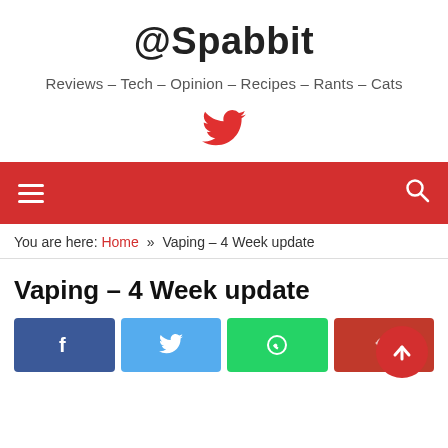@Spabbit
Reviews – Tech – Opinion – Recipes – Rants – Cats
[Figure (logo): Red Twitter bird icon]
[Figure (infographic): Red navigation bar with hamburger menu icon on left and search icon on right]
You are here: Home » Vaping – 4 Week update
Vaping – 4 Week update
[Figure (infographic): Social share buttons: Facebook (blue), Twitter (light blue), WhatsApp (green), Reddit (red), with scroll-to-top red circle button overlapping]